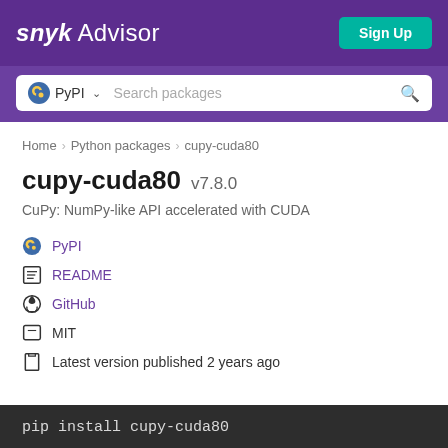snyk Advisor  Sign Up
PyPI  Search packages
Home > Python packages > cupy-cuda80
cupy-cuda80 v7.8.0
CuPy: NumPy-like API accelerated with CUDA
PyPI
README
GitHub
MIT
Latest version published 2 years ago
pip install cupy-cuda80